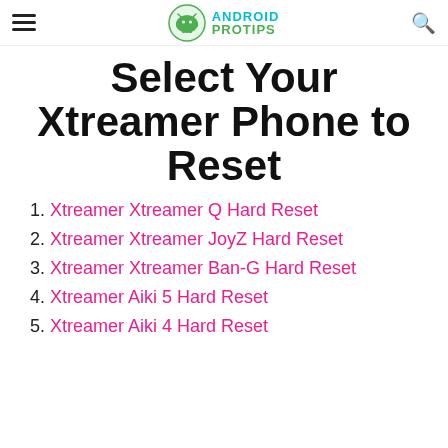Android Pro Tips
Select Your Xtreamer Phone to Reset
Xtreamer Xtreamer Q Hard Reset
Xtreamer Xtreamer JoyZ Hard Reset
Xtreamer Xtreamer Ban-G Hard Reset
Xtreamer Aiki 5 Hard Reset
Xtreamer Aiki 4 Hard Reset